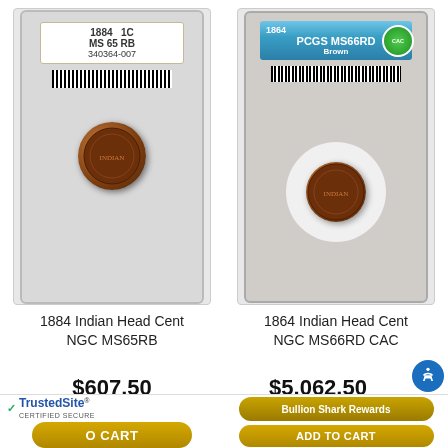[Figure (photo): NGC graded slab containing 1884 Indian Head Cent, MS 65 RB, serial 340364-007]
[Figure (photo): PCGS graded slab containing 1864 Indian Head Cent, PCGS MS66RD Brown, with CAC green sticker]
1884 Indian Head Cent NGC MS65RB
1864 Indian Head Cent NGC MS66RD CAC
$607.50
$5,062.50
TrustedSite CERTIFIED SECURE
O CART
Bullion Shark Rewards
ADD TO CART